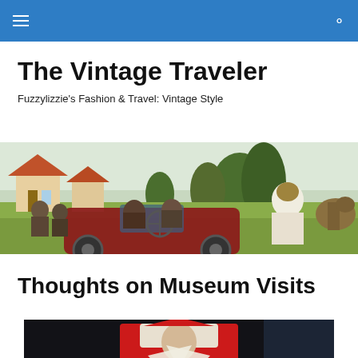Navigation bar with hamburger menu and search icon
The Vintage Traveler
Fuzzylizzie's Fashion & Travel: Vintage Style
[Figure (illustration): Vintage illustration of people in an early automobile in a countryside setting with cottages and trees]
Thoughts on Museum Visits
[Figure (photo): Photo of a person in red and white costume against a dark background]